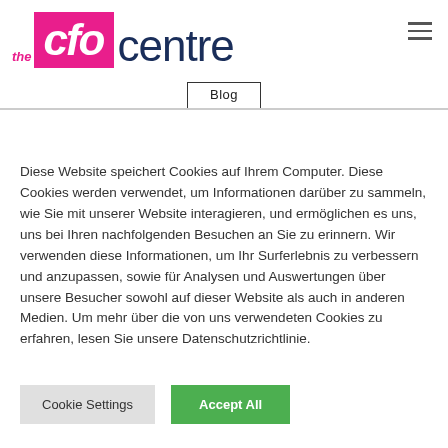[Figure (logo): The CFO Centre logo with pink/magenta box containing white italic 'cfo' text, 'the' in pink to the left, and 'centre' in dark navy to the right]
Blog
Diese Website speichert Cookies auf Ihrem Computer. Diese Cookies werden verwendet, um Informationen darüber zu sammeln, wie Sie mit unserer Website interagieren, und ermöglichen es uns, uns bei Ihren nachfolgenden Besuchen an Sie zu erinnern. Wir verwenden diese Informationen, um Ihr Surferlebnis zu verbessern und anzupassen, sowie für Analysen und Auswertungen über unsere Besucher sowohl auf dieser Website als auch in anderen Medien. Um mehr über die von uns verwendeten Cookies zu erfahren, lesen Sie unsere Datenschutzrichtlinie.
Cookie Settings
Accept All